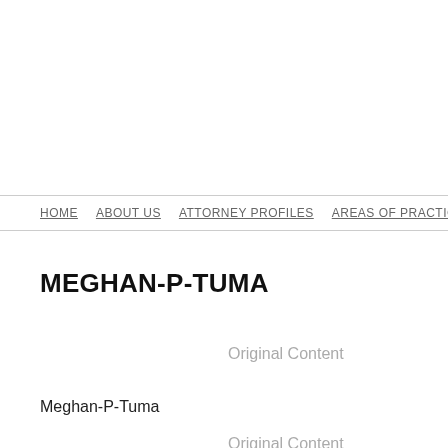HOME   ABOUT US   ATTORNEY PROFILES   AREAS OF PRACTICE   SELECTED
MEGHAN-P-TUMA
Original Content
Meghan-P-Tuma
Original Content